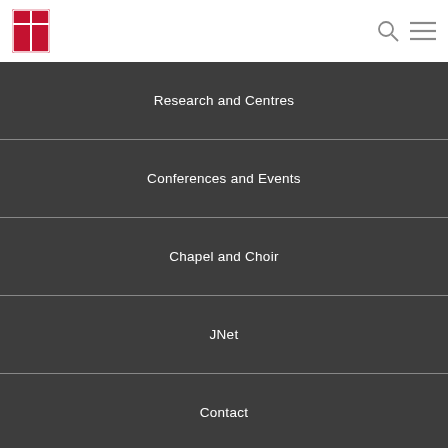Research and Centres
Conferences and Events
Chapel and Choir
JNet
Contact
Vacancies